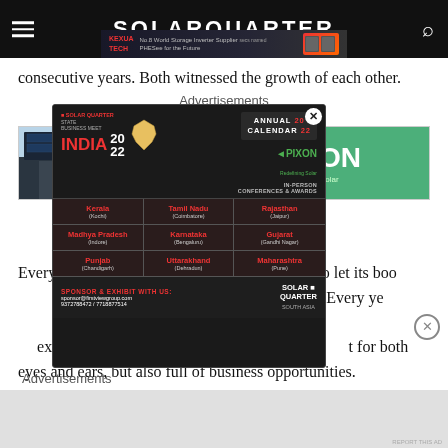SOLARQUARTER
consecutive years. Both witnessed the growth of each other.
Advertisements
[Figure (photo): Solar panels on building exterior, light blue sky background]
[Figure (infographic): Solar Quarter State Business Meet India 2022 popup advertisement showing Annual Calendar 2022, In-Person Conferences & Awards, states: Kerala (Kochi), Tamil Nadu (Coimbatore), Rajasthan (Jaipur), Madhya Pradesh (Indore), Karnataka (Bengaluru), Gujarat (Gandhi Nagar), Punjab (Chandigarh), Uttarakhand (Dehradun), Maharashtra (Pune). Sponsor & Exhibit With Us: sponsor@firstviewgroup.com, 9372788472/7718877614. Solar Quarter South Asia logo. Pixon logo.]
Every year, SolarQuarter gives an opportunity to let its booth exhibitors a chance to get attention at the Expo. Every year, they break records to create a new record, start a buzz, and create an exhibition experience for all visitors. It is not just for both eyes and ears, but also full of business opportunities.
Advertisements